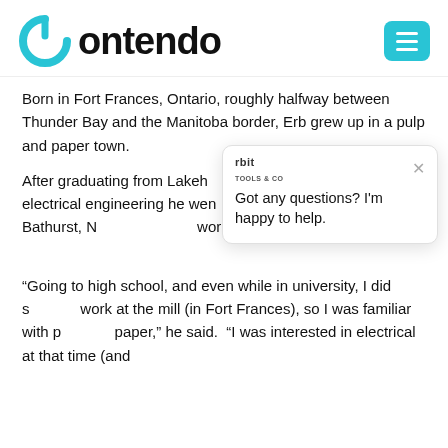[Figure (logo): Contendo logo with blue power-button icon and bold black text]
Born in Fort Frances, Ontario, roughly halfway between Thunder Bay and the Manitoba border, Erb grew up in a pulp and paper town.
After graduating from Lakeh[ead University with a degree in] electrical engineering he wen[t to work for Noranda Mines,] finding himself in Bathurst, N[ew Brunswick, where he went to] work at that cities pulp and p[aper mill.]
[Figure (screenshot): Chat widget overlay from 'rbit' (Orbit Tools & Co) with text: Got any questions? I'm happy to help. And a close X button.]
“Going to high school, and even while in university, I did s[ummer] work at the mill (in Fort Frances), so I was familiar with p[ulp and] paper,” he said.  “I was interested in electrical at that time (and